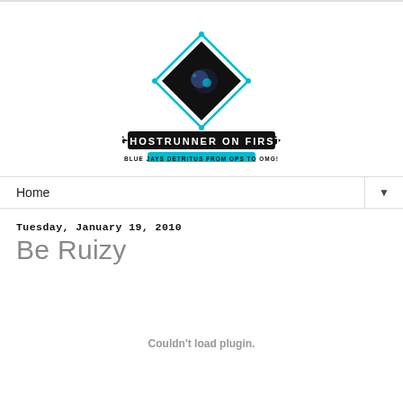[Figure (logo): Ghostrunner on First blog logo — black diamond shape with cyan highlights and a small planet/moon icon, above a black banner reading GHOSTRUNNER ON FIRST and a cyan banner reading BLUE JAYS DETRITUS FROM OPS TO OMG!]
Home ▼
Tuesday, January 19, 2010
Be Ruizy
Couldn't load plugin.